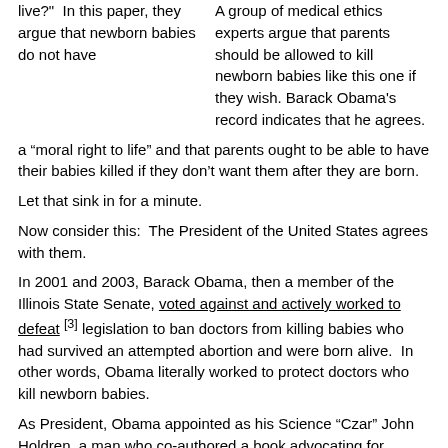live?"  In this paper, they argue that newborn babies do not have a “moral right to life” and that parents ought to be able to have their babies killed if they don’t want them after they are born.
A group of medical ethics experts argue that parents should be allowed to kill newborn babies like this one if they wish. Barack Obama’s record indicates that he agrees.
Let that sink in for a minute.
Now consider this:  The President of the United States agrees with them.
In 2001 and 2003, Barack Obama, then a member of the Illinois State Senate, voted against and actively worked to defeat [3] legislation to ban doctors from killing babies who had survived an attempted abortion and were born alive.  In other words, Obama literally worked to protect doctors who kill newborn babies.
As President, Obama appointed as his Science “Czar” John Holdren, a man who co-authored a book advocating for eugenics [4]  In his